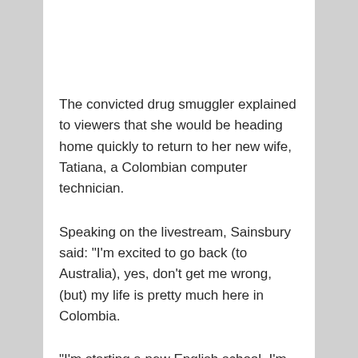The convicted drug smuggler explained to viewers that she would be heading home quickly to return to her new wife, Tatiana, a Colombian computer technician.
Speaking on the livestream, Sainsbury said: "I'm excited to go back (to Australia), yes, don't get me wrong, (but) my life is pretty much here in Colombia.
"I'm starting a new English school, I'm married, I'm projecting myself in the best way possible.